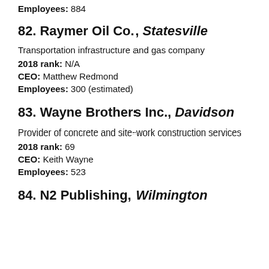Employees: 884
82. Raymer Oil Co., Statesville
Transportation infrastructure and gas company
2018 rank: N/A
CEO: Matthew Redmond
Employees: 300 (estimated)
83. Wayne Brothers Inc., Davidson
Provider of concrete and site-work construction services
2018 rank: 69
CEO: Keith Wayne
Employees: 523
84. N2 Publishing, Wilmington